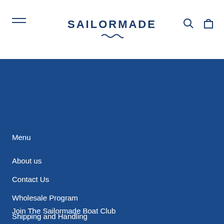SAILORMADE
Menu
About us
Contact Us
Wholesale Program
Shipping and Handling
Returns, Exchanges & Repairs
How-To-Wear Tutorials
[Figure (infographic): Social media icons: Facebook, Twitter, Instagram, Pinterest, Email]
Join The Sailormade Boat Club